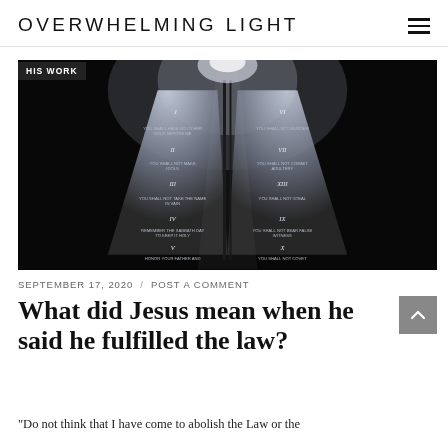OVERWHELMING LIGHT
HIS WORK
[Figure (photo): Two stone tablets with Roman numerals (the Ten Commandments) illuminated by a bright light from above against a dark background]
SEPTEMBER 17, 2020 / POST A COMMENT
What did Jesus mean when he said he fulfilled the law?
"Do not think that I have come to abolish the Law or the